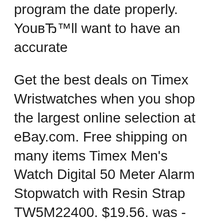program the date properly. You'll want to have an accurate
Get the best deals on Timex Wristwatches when you shop the largest online selection at eBay.com. Free shipping on many items Timex Men's Watch Digital 50 Meter Alarm Stopwatch with Resin Strap TW5M22400. $19.56. was - $26.95 TIMEX EXPEDITION INDIGLO 905 W2 BROWN LEATHER BAND SILVER TONE WATCH DATE A30. $24.01 2h 14m Nov 04, 2015В В· Buy Marathon by Timex Men's T5K802 Digital Full-Size Black/Gray Resin Strap Watch and other Wrist Watches at Amazon.com. Our wide selection is eligible for free shipping and free